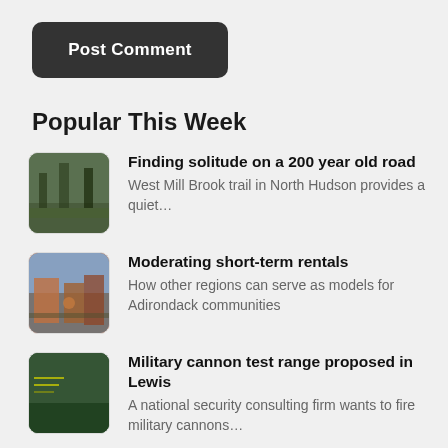[Figure (other): Post Comment button, dark rounded rectangle with white bold text]
Popular This Week
Finding solitude on a 200 year old road — West Mill Brook trail in North Hudson provides a quiet…
Moderating short-term rentals — How other regions can serve as models for Adirondack communities
Military cannon test range proposed in Lewis — A national security consulting firm wants to fire military cannons…
Removal of small Reber dam could be big for salmon habitat — The planned removal of a small dam in Reber could…
A visit to Duck Hole — Reporters Mike Lynch and Zach Matson visit Duck Hole to…